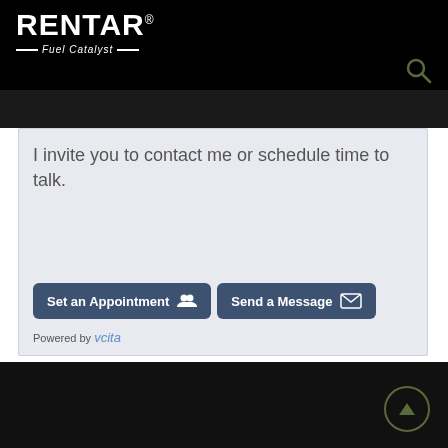RENTAR® Fuel Catalyst
I invite you to contact me or schedule time to talk.
[Figure (screenshot): Set an Appointment button with user icon]
[Figure (screenshot): Send a Message button with envelope icon]
Powered by vcita